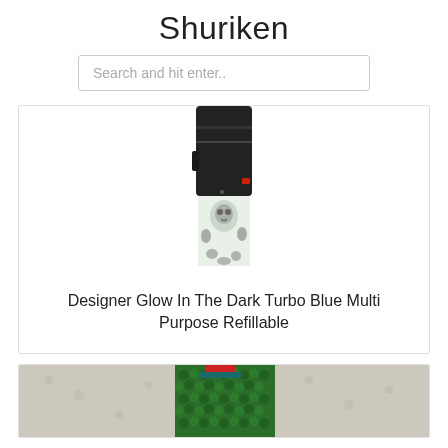Shuriken
Search and hit enter..
[Figure (photo): Close-up photo of a black lighter top mechanism attached to a decorative lighter body with black and white floral/skull pattern and green tint. The black portion shows mechanical components with a red accent. The lower portion shows the patterned body.]
Designer Glow In The Dark Turbo Blue Multi Purpose Refillable
[Figure (photo): Photo of a lighter covered in a green knitted/crocheted cozy or sleeve, placed on a light beige/gray carpet background. A red element is visible at the top.]